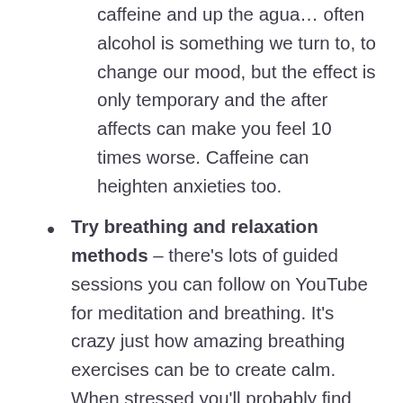caffeine and up the agua… often alcohol is something we turn to, to change our mood, but the effect is only temporary and the after affects can make you feel 10 times worse. Caffeine can heighten anxieties too.
Try breathing and relaxation methods – there's lots of guided sessions you can follow on YouTube for meditation and breathing. It's crazy just how amazing breathing exercises can be to create calm. When stressed you'll probably find you're holding in your breathe or